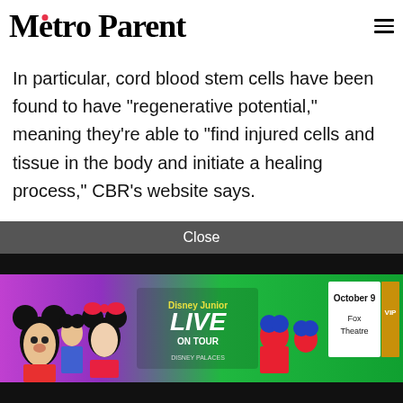Metro Parent
In particular, cord blood stem cells have been found to have "regenerative potential," meaning they're able to "find injured cells and tissue in the body and initiate a healing process," CBR's website says.
Once the blood is taken from the cord, it is picked up from the hospital by a bank and processed to deplete red blood
[Figure (other): Disney Junior Live On Tour advertisement banner featuring Mickey Mouse, Minnie Mouse, Goofy, and Spider-Man characters. Shows event details: October 9, Fox Theatre, with VIP option.]